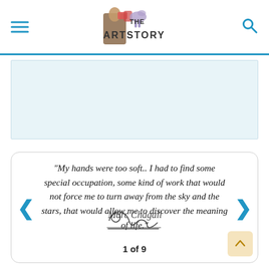THE ARTSTORY
[Figure (other): Blank placeholder/advertisement area with light blue background]
"My hands were too soft.. I had to find some special occupation, some kind of work that would not force me to turn away from the sky and the stars, that would allow me to discover the meaning of life."
[Figure (other): Marc Chagall handwritten signature]
1 of 9